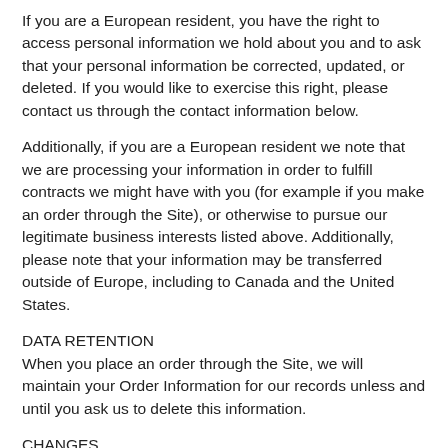If you are a European resident, you have the right to access personal information we hold about you and to ask that your personal information be corrected, updated, or deleted. If you would like to exercise this right, please contact us through the contact information below.
Additionally, if you are a European resident we note that we are processing your information in order to fulfill contracts we might have with you (for example if you make an order through the Site), or otherwise to pursue our legitimate business interests listed above. Additionally, please note that your information may be transferred outside of Europe, including to Canada and the United States.
DATA RETENTION
When you place an order through the Site, we will maintain your Order Information for our records unless and until you ask us to delete this information.
CHANGES
We may update this privacy policy from time to time in order to reflect, for example, changes to our practices or for oth...